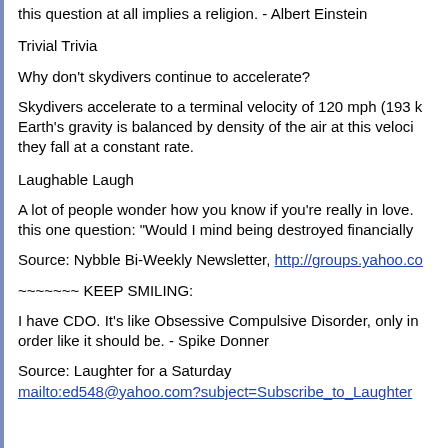this question at all implies a religion. - Albert Einstein
Trivial Trivia
Why don't skydivers continue to accelerate?
Skydivers accelerate to a terminal velocity of 120 mph (193 k... Earth's gravity is balanced by density of the air at this veloci... they fall at a constant rate.
Laughable Laugh
A lot of people wonder how you know if you're really in love. ... this one question: "Would I mind being destroyed financially...
Source: Nybble Bi-Weekly Newsletter, http://groups.yahoo.co...
~~~~~~~ KEEP SMILING:
I have CDO. It's like Obsessive Compulsive Disorder, only in... order like it should be. - Spike Donner
Source: Laughter for a Saturday
mailto:ed548@yahoo.com?subject=Subscribe_to_Laughter...